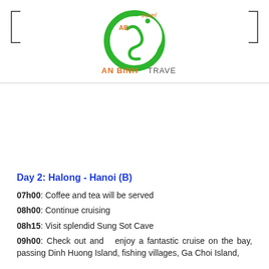[Figure (logo): An Binh Travel logo — green crescent moon shape with cursive element, orange 'AN BINH' text and grey 'TRAVEL' text below]
Day 2: Halong - Hanoi (B)
07h00: Coffee and tea will be served
08h00: Continue cruising
08h15: Visit splendid Sung Sot Cave
09h00: Check out and enjoy a fantastic cruise on the bay, passing Dinh Huong Island, fishing villages, Ga Choi Island, Drum Island, Gai Island...